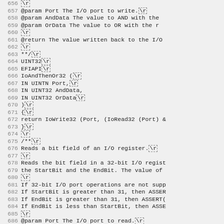Source code listing lines 656-688, C/UEFI header documentation and implementation for IoAndThenOr32 function and bit field read documentation.